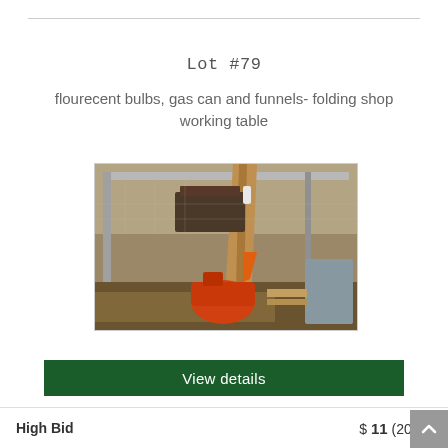Lot #79
flourecent bulbs, gas can and funnels- folding shop working table
[Figure (photo): Indoor shed photo showing an orange gas can, a wooden post, metal shelving or bench hardware on the ground among hay/debris, with metal wire fence visible in background.]
View details
High Bid   $ 11 (2087)